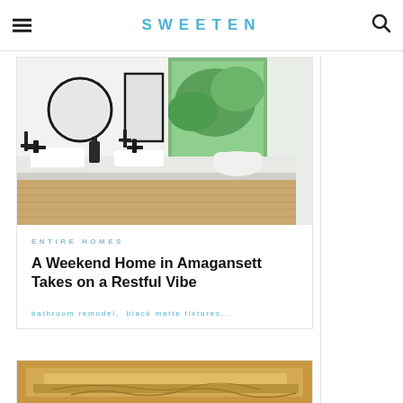SWEETEN
[Figure (photo): Modern bathroom interior with white countertop, black matte faucets and fixtures, rectangular sink, freestanding bathtub, large window overlooking lush green trees, wooden floor panels, and round mirror.]
ENTIRE HOMES
A Weekend Home in Amagansett Takes on a Restful Vibe
bathroom remodel,  black matte fixtures...
[Figure (photo): Bottom portion of second article card showing a yellow/orange toned construction or renovation image with plaster and wall details.]